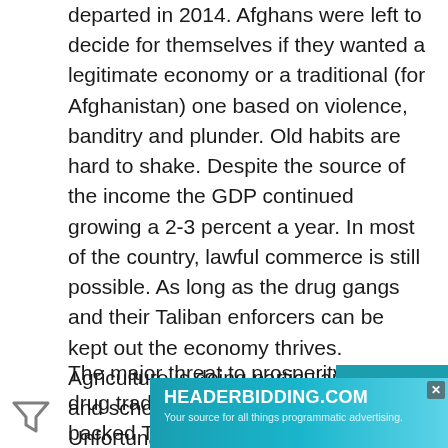departed in 2014. Afghans were left to decide for themselves if they wanted a legitimate economy or a traditional (for Afghanistan) one based on violence, banditry and plunder. Old habits are hard to shake. Despite the source of the income the GDP continued growing a 2-3 percent a year. In most of the country, lawful commerce is still possible. As long as the drug gangs and their Taliban enforcers can be kept out the economy thrives. Agriculture is doing particularly well and schools are able to function. Unfortunately, many young Afghans who get an education end up leaving the country because there are not enough legitimate jobs.
The major threat to prosperity is the drug trade and the use of Pakistani backed Taliban as hired guns to p... Afgh...